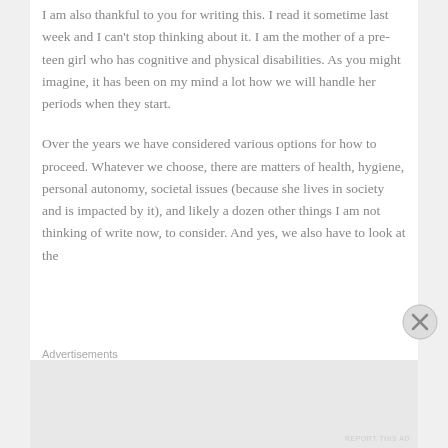I am also thankful to you for writing this. I read it sometime last week and I can't stop thinking about it. I am the mother of a pre-teen girl who has cognitive and physical disabilities. As you might imagine, it has been on my mind a lot how we will handle her periods when they start.

Over the years we have considered various options for how to proceed. Whatever we choose, there are matters of health, hygiene, personal autonomy, societal issues (because she lives in society and is impacted by it), and likely a dozen other things I am not thinking of write now, to consider. And yes, we also have to look at the
Advertisements